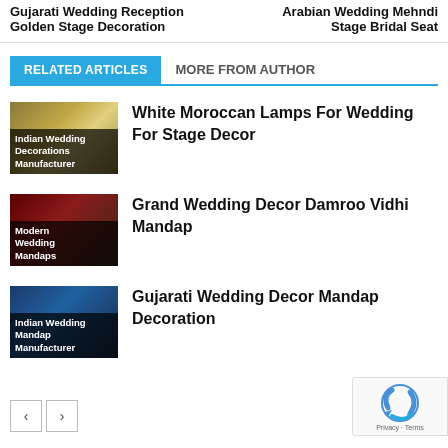Gujarati Wedding Reception Golden Stage Decoration
Arabian Wedding Mehndi Stage Bridal Seat
RELATED ARTICLES   MORE FROM AUTHOR
[Figure (photo): Thumbnail with golden decorations, labeled 'Indian Wedding Decorations Manufacturer']
White Moroccan Lamps For Wedding For Stage Decor
[Figure (photo): Thumbnail with dark red background, labeled 'Modern Wedding Mandaps']
Grand Wedding Decor Damroo Vidhi Mandap
[Figure (photo): Thumbnail with crowd background, labeled 'Indian Wedding Mandap Manufacturer']
Gujarati Wedding Decor Mandap Decoration